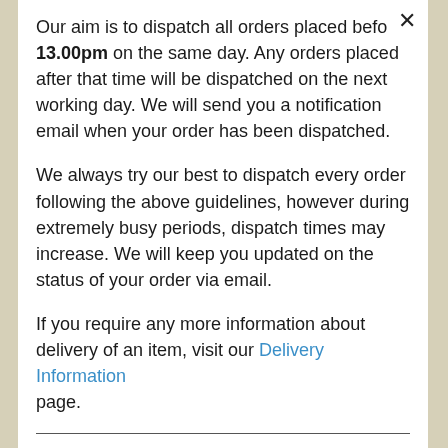Our aim is to dispatch all orders placed before 13.00pm on the same day. Any orders placed after that time will be dispatched on the next working day. We will send you a notification email when your order has been dispatched.
We always try our best to dispatch every order following the above guidelines, however during extremely busy periods, dispatch times may increase. We will keep you updated on the status of your order via email.
If you require any more information about delivery of an item, visit our Delivery Information page.
I LIVE OVERSEAS, HOW MUCH WILL IT COST TO DELIVER THIS ITEM?
Please note, only orders for UK delivery may be